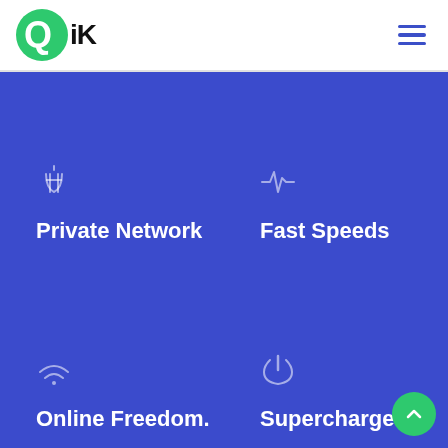[Figure (logo): Qik logo: green circle with Q and iK text]
[Figure (infographic): Blue hero section with four feature icons and labels: Private Network (shield icon), Fast Speeds (pulse/activity icon), Online Freedom. (wifi/signal icon), Supercharged (power icon)]
Private Network
Fast Speeds
Online Freedom.
Supercharged